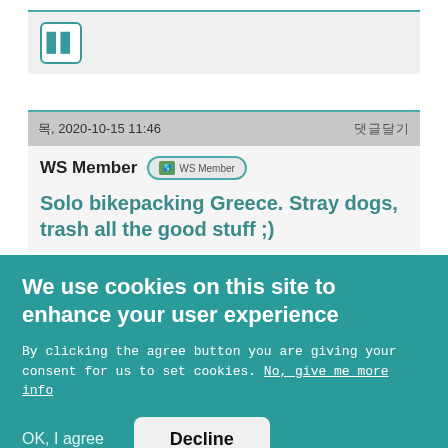[Figure (screenshot): Forum post card with teal border, showing an avatar icon box with two vertical bars]
목, 2020-10-15 11:46   댓글달기
WS Member  [WS Member badge]
Solo bikepacking Greece. Stray dogs, trash all the good stuff ;)
We use cookies on this site to enhance your user experience
By clicking the agree button you are giving your consent for us to set cookies. No, give me more info
OK, I agree
Decline